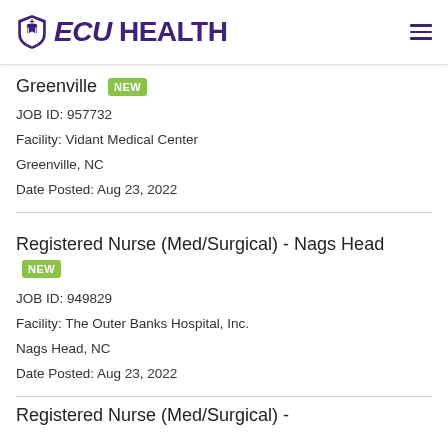ECU HEALTH
Greenville NEW
JOB ID: 957732
Facility: Vidant Medical Center
Greenville, NC
Date Posted: Aug 23, 2022
Registered Nurse (Med/Surgical) - Nags Head NEW
JOB ID: 949829
Facility: The Outer Banks Hospital, Inc.
Nags Head, NC
Date Posted: Aug 23, 2022
Registered Nurse (Med/Surgical) - ...